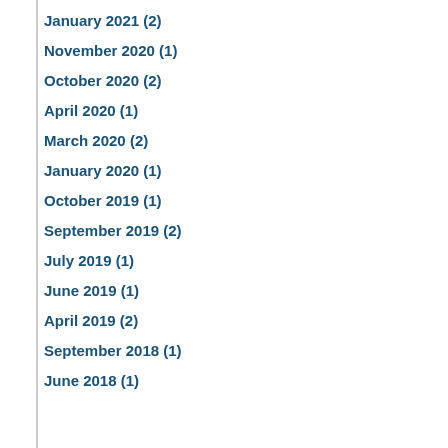January 2021 (2)
November 2020 (1)
October 2020 (2)
April 2020 (1)
March 2020 (2)
January 2020 (1)
October 2019 (1)
September 2019 (2)
July 2019 (1)
June 2019 (1)
April 2019 (2)
September 2018 (1)
June 2018 (1)